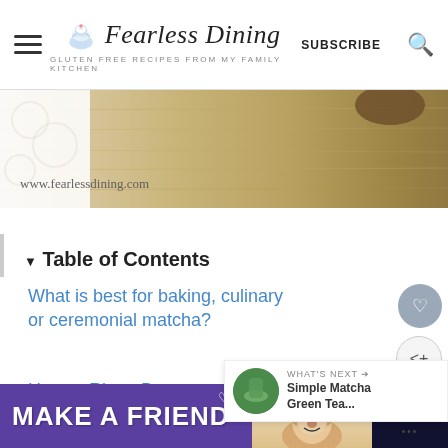Fearless Dining — GLUTEN FREE RECIPES FROM MY FAMILY KITCHEN — SUBSCRIBE
[Figure (photo): Hero banner image showing a wooden cutting board with white background on left side, www.fearlessdining.com watermark text visible in lower left]
▼ Table of Contents
What is best for baking, culinary or ceremonial matcha?
How to Ripen Bananas:
WHAT'S NEXT → Simple Matcha Green Tea...
[Figure (photo): Advertisement banner: MAKE A FRIEND with dog image, purple background]
www.fearlessdining.com